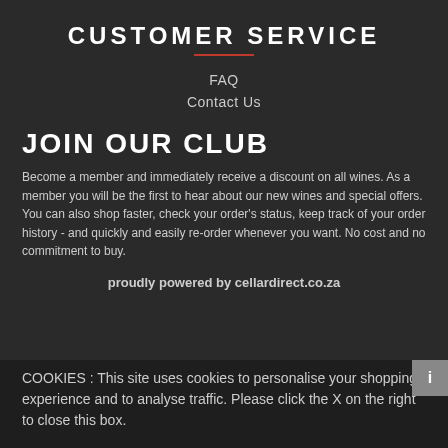CUSTOMER SERVICE
FAQ
Contact Us
JOIN OUR CLUB
Become a member and immediately receive a discount on all wines. As a member you will be the first to hear about our new wines and special offers. You can also shop faster, check your order's status, keep track of your order history - and quickly and easily re-order whenever you want. No cost and no commitment to buy.
proudly powered by cellardirect.co.za
COOKIES : This site uses cookies to personalise your shopping experience and to analyse traffic. Please click the X on the right to close this box.